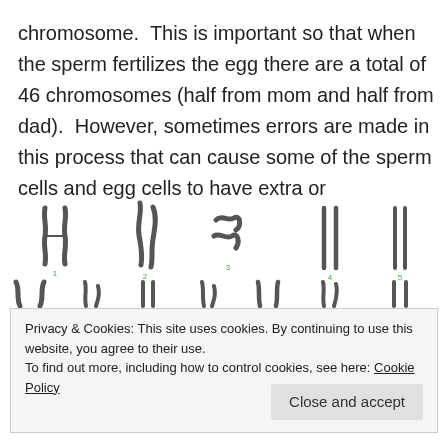chromosome.  This is important so that when the sperm fertilizes the egg there are a total of 46 chromosomes (half from mom and half from dad).  However, sometimes errors are made in this process that can cause some of the sperm cells and egg cells to have extra or
[Figure (illustration): Karyotype image showing pairs of human chromosomes arranged in rows. Top row shows chromosomes 1-5 (large chromosomes). Second row shows chromosomes 6-12 (medium chromosomes), partially obscured by cookie banner.]
Privacy & Cookies: This site uses cookies. By continuing to use this website, you agree to their use.
To find out more, including how to control cookies, see here: Cookie Policy